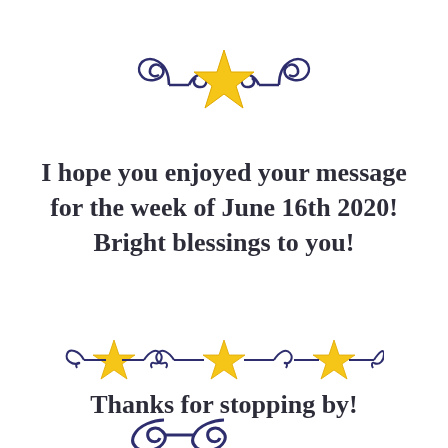[Figure (illustration): Decorative ornament with dark blue swirling scrolls and a gold star in the center, centered at the top of the page.]
I hope you enjoyed your message for the week of June 16th 2020! Bright blessings to you!
[Figure (illustration): Decorative divider with three gold stars and dark blue swirling scrolls between them, spanning the width of the page.]
Thanks for stopping by!
[Figure (illustration): Partial decorative ornament with dark blue swirling scrolls visible at the bottom of the page.]